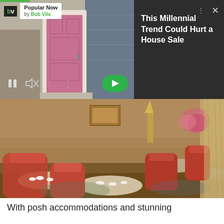[Figure (screenshot): Ad overlay with Bob Vila Popular Now banner on left showing pink door background, and dark panel on right with text 'This Millennial Trend Could Hurt a House Sale'. Controls include pause, mute, arrow buttons.]
[Figure (photo): Elegant restaurant dining room with red/orange upholstered chairs, round tables set with white dishes, warm brown interior, floral arrangements, and patterned carpet.]
With posh accommodations and stunning